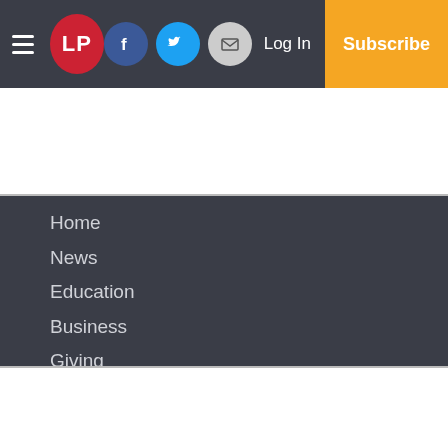LP | Log In | Subscribe | Facebook | Twitter | Email
Home
News
Education
Business
Giving
Lifestyles
Sports
Opinion
Missed Leader
Obituaries
Classifieds
Small Business
Services
About Us